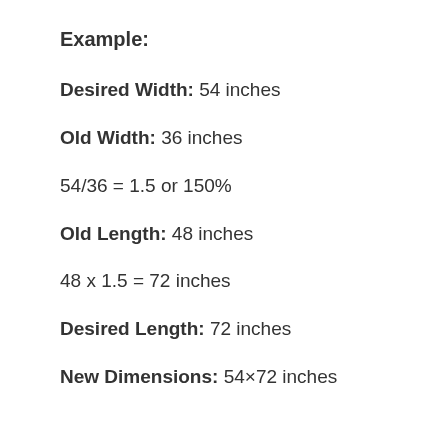Example:
Desired Width: 54 inches
Old Width: 36 inches
54/36 = 1.5 or 150%
Old Length: 48 inches
48 x 1.5 = 72 inches
Desired Length: 72 inches
New Dimensions: 54×72 inches